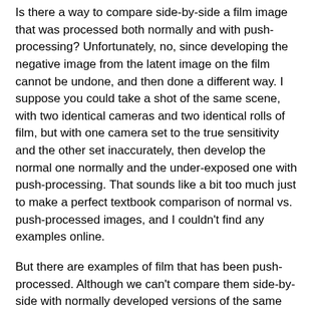Is there a way to compare side-by-side a film image that was processed both normally and with push-processing? Unfortunately, no, since developing the negative image from the latent image on the film cannot be undone, and then done a different way. I suppose you could take a shot of the same scene, with two identical cameras and two identical rolls of film, but with one camera set to the true sensitivity and the other set inaccurately, then develop the normal one normally and the under-exposed one with push-processing. That sounds like a bit too much just to make a perfect textbook comparison of normal vs. push-processed images, and I couldn't find any examples online.
But there are examples of film that has been push-processed. Although we can't compare them side-by-side with normally developed versions of the same film frame, at least we can pick up on some of the typical traits that push-processing introduces. Below is an example from this series at a photographer's website. The film is ISO 400, but was push-processed to look like ISO 3200. That is 3 stops of pushing, whereas Kodak and other photography guidebooks